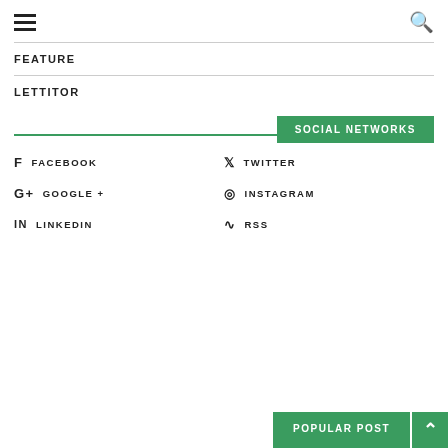≡  🔍
FEATURE
LETTITOR
SOCIAL NETWORKS
f  FACEBOOK
🐦  TWITTER
G+  GOOGLE +
⊙  INSTAGRAM
in  LINKEDIN
)))  RSS
POPULAR POST